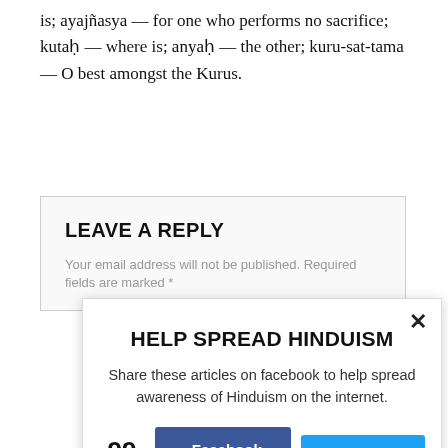is; ayajñasya — for one who performs no sacrifice; kutaḥ — where is; anyaḥ — the other; kuru-sat-tama — O best amongst the Kurus.
LEAVE A REPLY
Your email address will not be published. Required fields are marked *
HELP SPREAD HINDUISM
Share these articles on facebook to help spread awareness of Hinduism on the internet.
99 SHARES  Facebook 99  Twitter 0  Subscribe